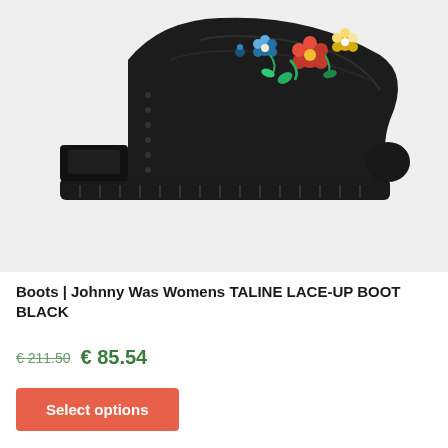[Figure (photo): Black leather lace-up boot (Johnny Was Womens TALINE LACE-UP BOOT BLACK) with colorful floral embroidery on upper, chunky rubber lug sole, photographed from the side on a light grey background.]
Boots | Johnny Was Womens TALINE LACE-UP BOOT BLACK
€ 211.50 € 85.54
Select options